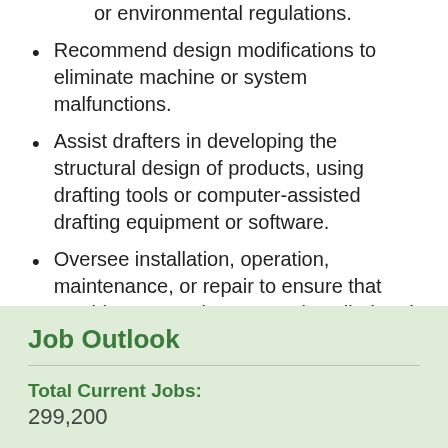or environmental regulations.
Recommend design modifications to eliminate machine or system malfunctions.
Assist drafters in developing the structural design of products, using drafting tools or computer-assisted drafting equipment or software.
Oversee installation, operation, maintenance, or repair to ensure that machines or equipment are installed and functioning according to specifications.
« CAREER LIST
Job Outlook
Total Current Jobs:
299,200